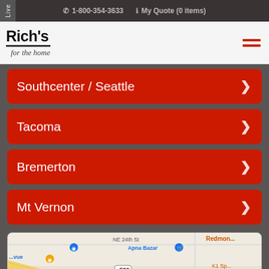Live Chat | ✆ 1-800-354-3633 | My Quote (0 items)
[Figure (logo): Rich's for the home logo]
Southcenter / Seattle
Tacoma
Bremerton
Mt Vernon
[Figure (map): Google map showing area around NE 24th St, 148th Ave NE, with labels: Apna Bazar, Fred Meyer, K1 Speed Go Karts, Dosa Vegetarian, Redmond, NE 21st St, route 520]